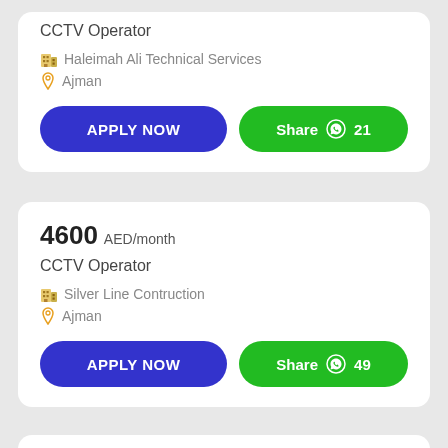CCTV Operator
Haleimah Ali Technical Services
Ajman
APPLY NOW
Share 21
4600 AED/month
CCTV Operator
Silver Line Contruction
Ajman
APPLY NOW
Share 49
5000